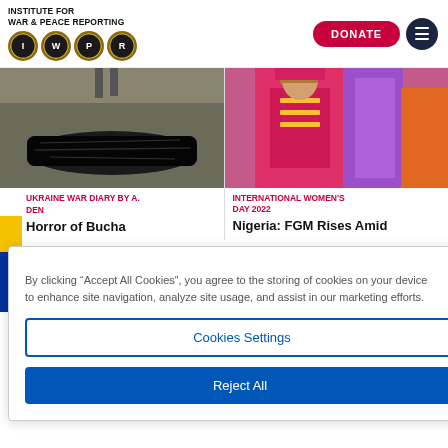[Figure (logo): Institute for War & Peace Reporting logo with IWPR letter circles]
[Figure (photo): Body covered in black plastic on ground, Ukraine war scene]
UKRAINE WAR DIARY BY A.
DEN
Horror of Bucha
[Figure (photo): Women in bright pink and red traditional dress, Nigeria]
INTERNATIONAL WOMEN'S DAY 2022
Nigeria: FGM Rises Amid
By clicking "Accept All Cookies", you agree to the storing of cookies on your device to enhance site navigation, analyze site usage, and assist in our marketing efforts.
Cookies Settings
Reject All